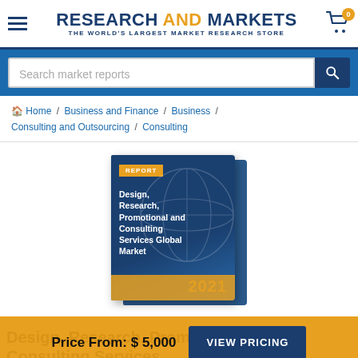RESEARCH AND MARKETS — THE WORLD'S LARGEST MARKET RESEARCH STORE
Search market reports
Home / Business and Finance / Business / Consulting and Outsourcing / Consulting
[Figure (illustration): Book cover illustration showing a market research report titled 'Design, Research, Promotional and Consulting Services Global Market' with REPORT tag, globe background, and year 2021 at the bottom, shown in 3D book form.]
Price From: $ 5,000
VIEW PRICING